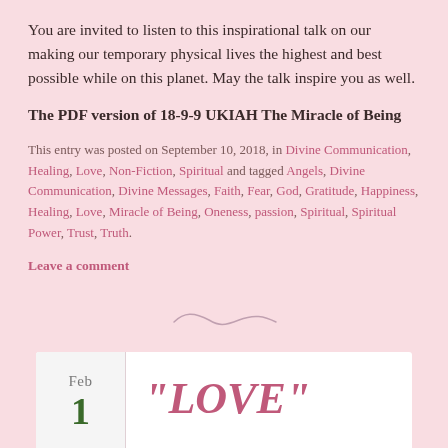You are invited to listen to this inspirational talk on our making our temporary physical lives the highest and best possible while on this planet. May the talk inspire you as well.
The PDF version of 18-9-9 UKIAH The Miracle of Being
This entry was posted on September 10, 2018, in Divine Communication, Healing, Love, Non-Fiction, Spiritual and tagged Angels, Divine Communication, Divine Messages, Faith, Fear, God, Gratitude, Happiness, Healing, Love, Miracle of Being, Oneness, passion, Spiritual, Spiritual Power, Trust, Truth.
Leave a comment
[Figure (illustration): Decorative squiggly divider line]
“LOVE”
The February Spiritual Power Tools Workshop  REGISTRATION FORM